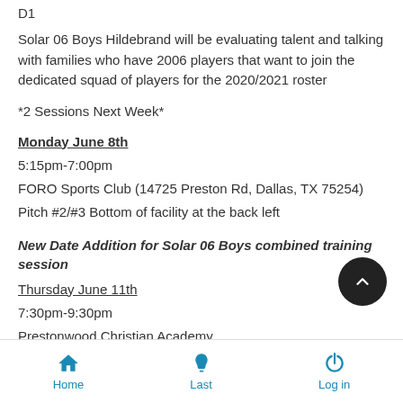D1
Solar 06 Boys Hildebrand will be evaluating talent and talking with families who have 2006 players that want to join the dedicated squad of players for the 2020/2021 roster
*2 Sessions Next Week*
Monday June 8th
5:15pm-7:00pm
FORO Sports Club (14725 Preston Rd, Dallas, TX 75254)
Pitch #2/#3 Bottom of facility at the back left
New Date Addition for Solar 06 Boys combined training session
Thursday June 11th
7:30pm-9:30pm
Prestonwood Christian Academy
Lions Stadium
Home   Last   Log in